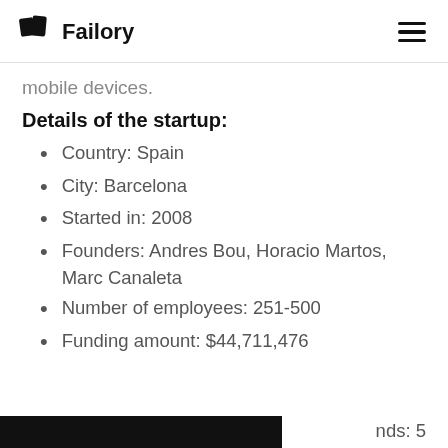Failory
mobile devices.
Details of the startup:
Country: Spain
City: Barcelona
Started in: 2008
Founders: Andres Bou, Horacio Martos, Marc Canaleta
Number of employees: 251-500
Funding amount: $44,711,476